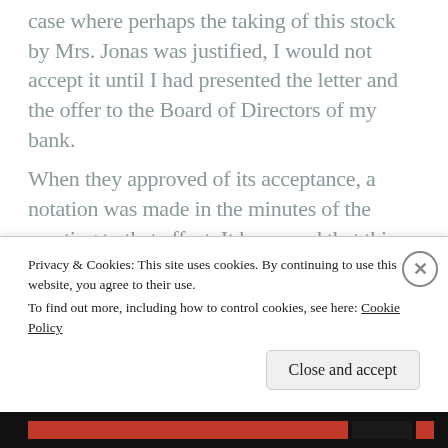case where perhaps the taking of this stock by Mrs. Jonas was justified, I would not accept it until I had presented the letter and the offer to the Board of Directors of my bank.
When they approved of its acceptance, a notation was made in the minutes of the meeting to that effect. It happened that this was the only case where I permitted stock to be presented to either Mrs. Jonas or myself
Privacy & Cookies: This site uses cookies. By continuing to use this website, you agree to their use.
To find out more, including how to control cookies, see here: Cookie Policy